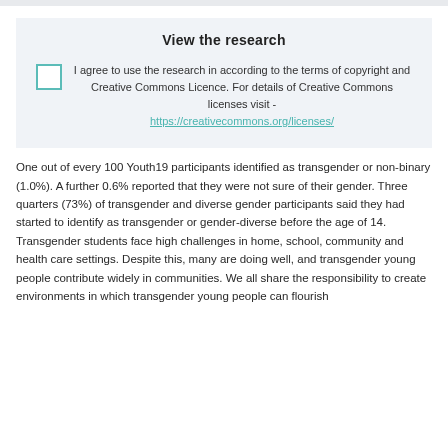View the research
I agree to use the research in according to the terms of copyright and Creative Commons Licence. For details of Creative Commons licenses visit - https://creativecommons.org/licenses/
One out of every 100 Youth19 participants identified as transgender or non-binary (1.0%). A further 0.6% reported that they were not sure of their gender. Three quarters (73%) of transgender and diverse gender participants said they had started to identify as transgender or gender-diverse before the age of 14. Transgender students face high challenges in home, school, community and health care settings. Despite this, many are doing well, and transgender young people contribute widely in communities. We all share the responsibility to create environments in which transgender young people can flourish